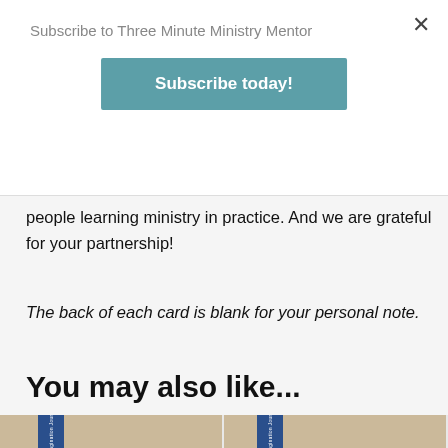Subscribe to Three Minute Ministry Mentor
Subscribe today!
people learning ministry in practice. And we are grateful for your partnership!
The back of each card is blank for your personal note.
You may also like...
[Figure (photo): Two book product images showing Imagination Journal books with colorful covers and dark blue spines, displayed side by side on a tan/beige background.]